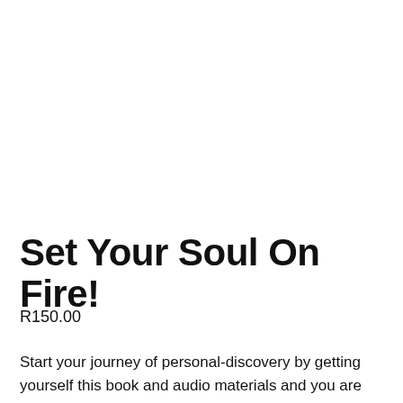Set Your Soul On Fire!
R150.00
Start your journey of personal-discovery by getting yourself this book and audio materials and you are assured that you